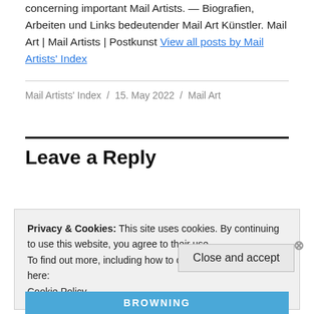concerning important Mail Artists. — Biografien, Arbeiten und Links bedeutender Mail Art Künstler. Mail Art | Mail Artists | Postkunst View all posts by Mail Artists' Index
Mail Artists' Index / 15. May 2022 / Mail Art
Leave a Reply
Privacy & Cookies: This site uses cookies. By continuing to use this website, you agree to their use.
To find out more, including how to control cookies, see here: Cookie Policy
Close and accept